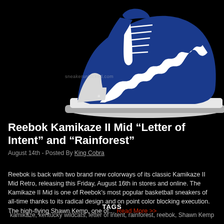[Figure (photo): A blue and white Reebok Kamikaze II Mid basketball sneaker photographed against a black background. The shoe has a distinctive zigzag white stripe pattern on the blue upper with white laces. Watermark reads 'sneakerunlocked.com'.]
Reebok Kamikaze II Mid “Letter of Intent” and “Rainforest”
August 14th - Posted By King Cobra
Reebok is back with two brand new colorways of its classic Kamikaze II Mid Retro, releasing this Friday, August 16th in stores and online. The Kamikaze II Mid is one of Reebok’s most popular basketball sneakers of all-time thanks to its radical design and on point color blocking execution. The high-flying Shawn Kemp, one of… Read More >>
TAGS
kamikaze, kentucky wildcats, letter of intent, rainforest, reebok, Shawn Kemp